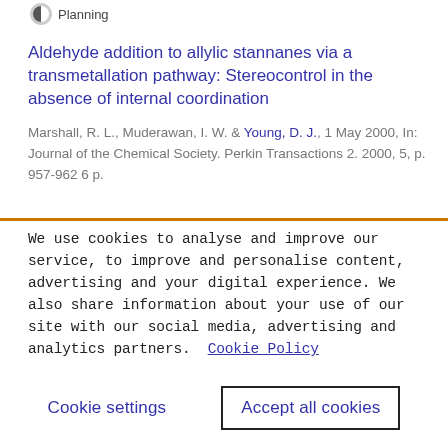Planning
Aldehyde addition to allylic stannanes via a transmetallation pathway: Stereocontrol in the absence of internal coordination
Marshall, R. L., Muderawan, I. W. & Young, D. J., 1 May 2000, In: Journal of the Chemical Society. Perkin Transactions 2. 2000, 5, p. 957-962 6 p.
We use cookies to analyse and improve our service, to improve and personalise content, advertising and your digital experience. We also share information about your use of our site with our social media, advertising and analytics partners.  Cookie Policy
Cookie settings
Accept all cookies